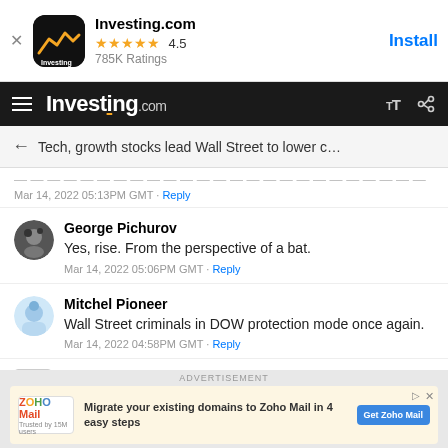[Figure (screenshot): Investing.com app banner with icon, 4.5 star rating, 785K Ratings, and Install button]
Investing.com — hamburger menu, brand logo, font-size and share icons
← Tech, growth stocks lead Wall Street to lower c…
Mar 14, 2022 05:13PM GMT · Reply
George Pichurov
Yes, rise. From the perspective of a bat.
Mar 14, 2022 05:06PM GMT · Reply
Mitchel Pioneer
Wall Street criminals in DOW protection mode once again.
Mar 14, 2022 04:58PM GMT · Reply
Kaushal Shah
[Figure (infographic): Zoho Mail advertisement — Migrate your existing domains to Zoho Mail in 4 easy steps. Get Zoho Mail button.]